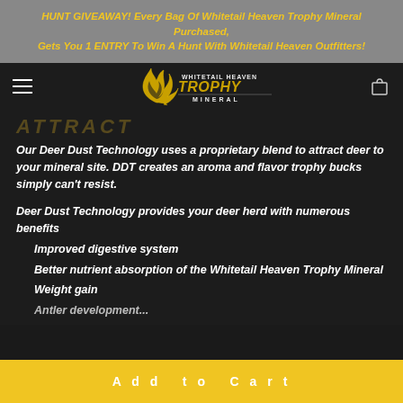HUNT GIVEAWAY! Every Bag Of Whitetail Heaven Trophy Mineral Purchased, Gets You 1 ENTRY To Win A Hunt With Whitetail Heaven Outfitters!
[Figure (logo): Whitetail Heaven Trophy Mineral logo with flame icon and text]
Our Deer Dust Technology uses a proprietary blend to attract deer to your mineral site. DDT creates an aroma and flavor trophy bucks simply can't resist.
Deer Dust Technology provides your deer herd with numerous benefits
Improved digestive system
Better nutrient absorption of the Whitetail Heaven Trophy Mineral
Weight gain
Add to Cart